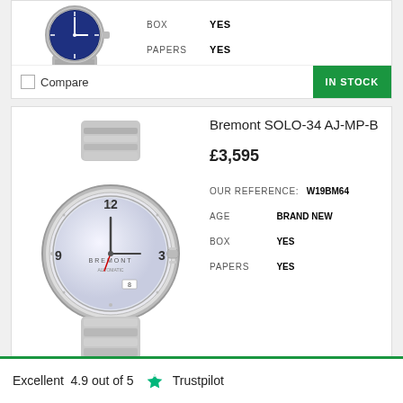[Figure (photo): Partial view of a steel watch with blue dial at top of page]
BOX YES
PAPERS YES
Compare
IN STOCK
[Figure (photo): Bremont SOLO-34 AJ-MP-B silver watch with white mother-of-pearl dial and steel bracelet]
Bremont SOLO-34 AJ-MP-B
£3,595
OUR REFERENCE: W19BM64
AGE BRAND NEW
BOX YES
PAPERS YES
Compare
IN STOCK
Excellent  4.9 out of 5  Trustpilot